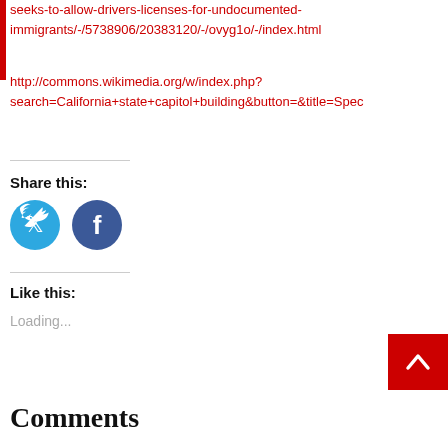seeks-to-allow-drivers-licenses-for-undocumented-immigrants/-/5738906/20383120/-/ovyg1o/-/index.html
http://commons.wikimedia.org/w/index.php?search=California+state+capitol+building&button=&title=Spec
Share this:
[Figure (infographic): Twitter bird icon circle (blue) and Facebook f icon circle (dark blue) social share buttons]
Like this:
Loading...
[Figure (infographic): Red scroll-to-top button with white chevron arrow]
Comments
comments
[Figure (infographic): Tweet button (blue rounded), LinkedIn Share button (teal square), Pinterest Save button (red rounded)]